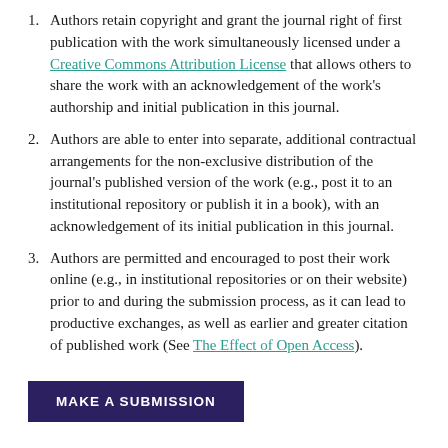Authors retain copyright and grant the journal right of first publication with the work simultaneously licensed under a Creative Commons Attribution License that allows others to share the work with an acknowledgement of the work's authorship and initial publication in this journal.
Authors are able to enter into separate, additional contractual arrangements for the non-exclusive distribution of the journal's published version of the work (e.g., post it to an institutional repository or publish it in a book), with an acknowledgement of its initial publication in this journal.
Authors are permitted and encouraged to post their work online (e.g., in institutional repositories or on their website) prior to and during the submission process, as it can lead to productive exchanges, as well as earlier and greater citation of published work (See The Effect of Open Access).
MAKE A SUBMISSION